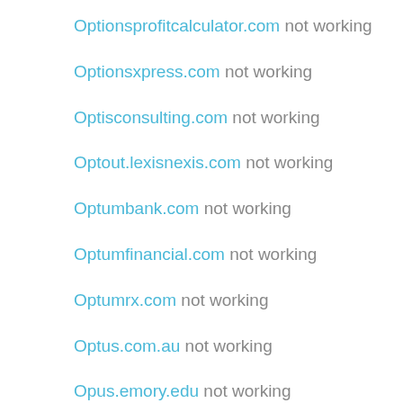Optionsprofitcalculator.com not working
Optionsxpress.com not working
Optisconsulting.com not working
Optout.lexisnexis.com not working
Optumbank.com not working
Optumfinancial.com not working
Optumrx.com not working
Optus.com.au not working
Opus.emory.edu not working